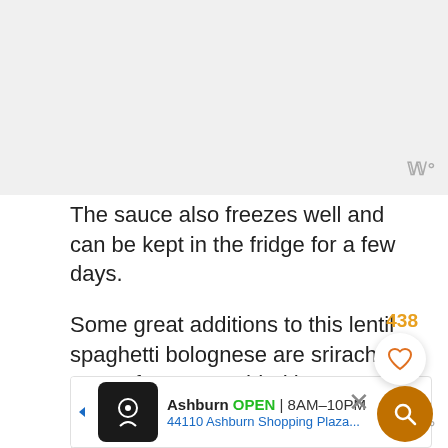[Figure (photo): Image placeholder area (top of page), likely a food photo]
The sauce also freezes well and can be kept in the fridge for a few days.
Some great additions to this lentil spaghetti bolognese are sriracha sauce for some added heat, grated vegan cheese, a fresh salad on the side, or some pickles like gherkins.
[Figure (screenshot): Advertisement bar: Ashburn OPEN 8AM-10PM, 44110 Ashburn Shopping Plaza...]